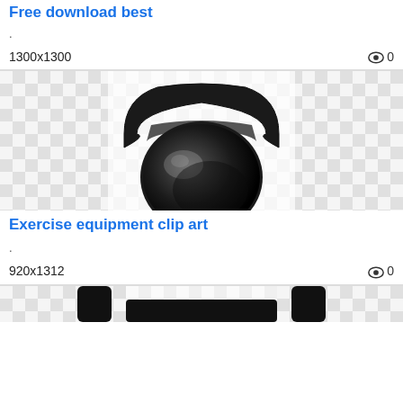Free download best
.
1300x1300
0
[Figure (photo): A black kettlebell exercise weight rendered on a transparent (checkerboard) background]
Exercise equipment clip art
.
920x1312
0
[Figure (photo): Partial view of another black kettlebell on a transparent background, cropped at bottom of page]